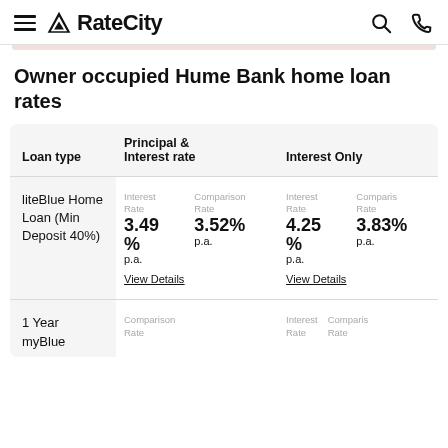RateCity
Owner occupied Hume Bank home loan rates
| Loan type | Principal & Interest rate | Interest Only |
| --- | --- | --- |
| liteBlue Home Loan (Min Deposit 40%) | Interest Rate 3.49% p.a. | Comparison Rate 3.52% p.a. | View Details | Interest Rate 4.25% p.a. | Comparison Rate 3.83% p.a. | View Details |
| 1 Year myBlue | Interest Rate | Interest Rate |